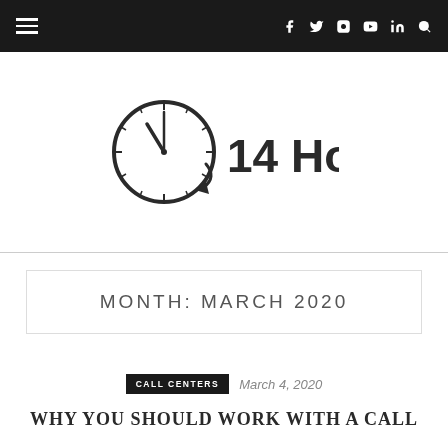Navigation bar with hamburger menu and social icons: f, Twitter, Instagram, YouTube, in, Search
[Figure (logo): 14 Hours logo with a clock icon showing an arrow pointing to the 14-hour mark, followed by bold text '14 Hours']
MONTH: MARCH 2020
CALL CENTERS  March 4, 2020
WHY YOU SHOULD WORK WITH A CALL